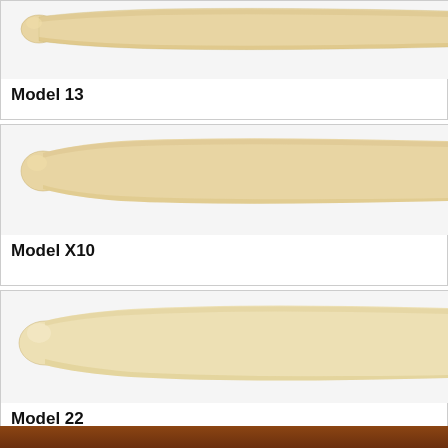[Figure (photo): Wooden baseball bat Model 13, showing handle end (knob) on left, barrel extending off right edge. Light natural wood color.]
Model 13
[Figure (photo): Wooden baseball bat Model X10, showing knob handle on left, full barrel extending right. Light natural wood color.]
Model X10
[Figure (photo): Wooden baseball bat Model 22, showing flared handle end on left, long barrel extending right. Light natural wood color.]
Model 22